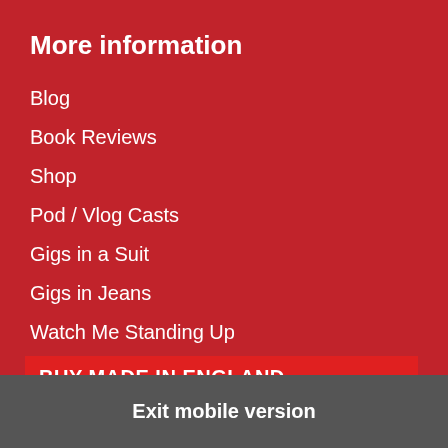More information
Blog
Book Reviews
Shop
Pod / Vlog Casts
Gigs in a Suit
Gigs in Jeans
Watch Me Standing Up
BUY MADE IN ENGLAND
Privacy Policy
Exit mobile version